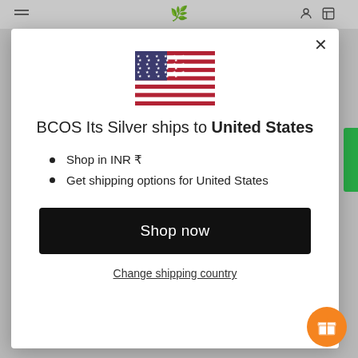[Figure (screenshot): US flag emoji displayed as the country flag in the shipping modal]
BCOS Its Silver ships to United States
Shop in INR ₹
Get shipping options for United States
Shop now
Change shipping country